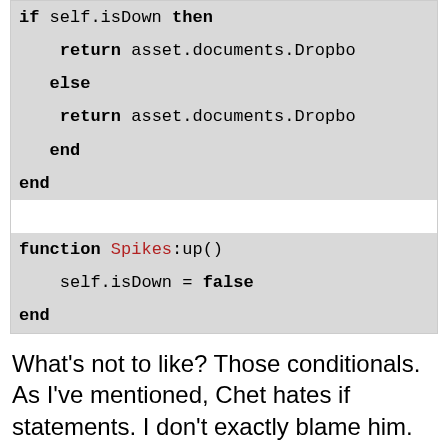[Figure (screenshot): Code block showing Lua/Ruby-style conditional with if self.isDown then return asset.documents.Dropb... else return asset.documents.Dropb... end end, followed by function Spikes:up() self.isDown = false end]
What's not to like? Those conditionals. As I've mentioned, Chet hates if statements. I don't exactly blame him. Let's do a thing.
[Figure (screenshot): Code block showing start of function Spikes:init(tile)]